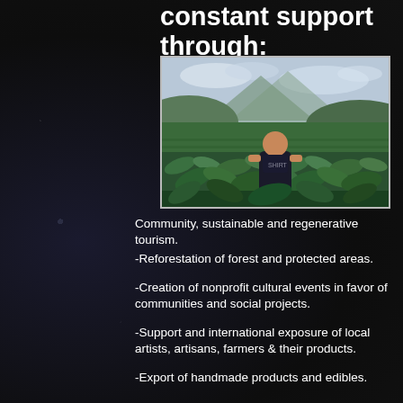constant support through:
[Figure (photo): A man standing in a green agricultural field with mountains and cloudy sky in the background.]
Community, sustainable and regenerative tourism.
-Reforestation of forest and protected areas.
-Creation of nonprofit cultural events in favor of communities and social projects.
-Support and international exposure of local artists, artisans, farmers & their products.
-Export of handmade products and edibles.
-Rescue and rapid action support team for natural disasters.
-Volunteering